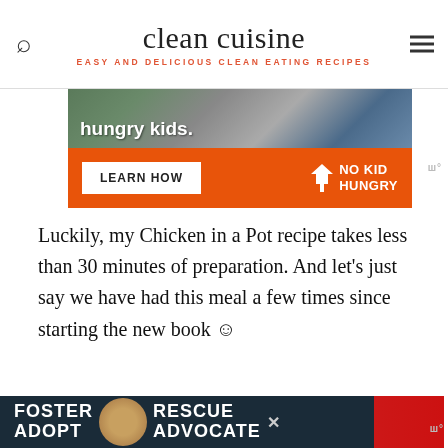clean cuisine — EASY AND DELICIOUS CLEAN EATING RECIPES
[Figure (photo): No Kid Hungry advertisement banner with orange background showing 'hungry kids.' text and LEARN HOW button]
Luckily, my Chicken in a Pot recipe takes less than 30 minutes of preparation. And let's just say we have had this meal a few times since starting the new book ☺
[Figure (photo): Food photo showing a white bowl and red background, partially visible]
[Figure (photo): Foster Adopt Advocate rescue dog advertisement banner with dark background and dog image]